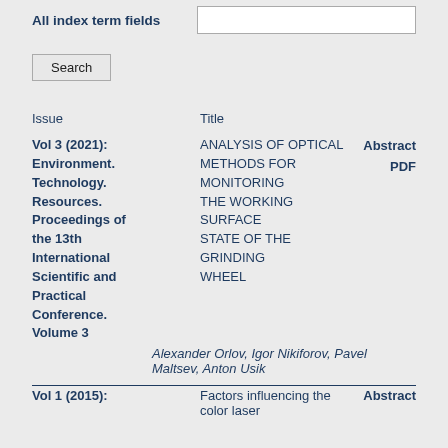All index term fields
Search
| Issue | Title |  |
| --- | --- | --- |
| Vol 3 (2021): Environment. Technology. Resources. Proceedings of the 13th International Scientific and Practical Conference. Volume 3 | ANALYSIS OF OPTICAL METHODS FOR MONITORING THE WORKING SURFACE STATE OF THE GRINDING WHEEL | Abstract PDF |
|  | Alexander Orlov, Igor Nikiforov, Pavel Maltsev, Anton Usik |  |
| Vol 1 (2015): | Factors influencing the color laser | Abstract |